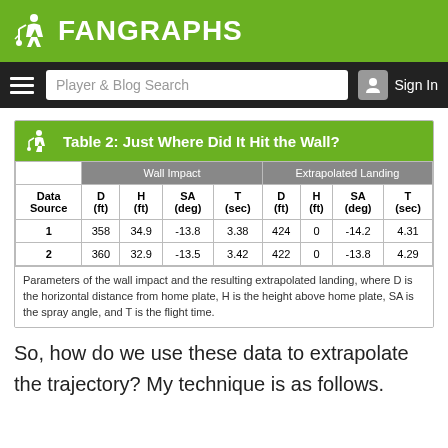FANGRAPHS
| Data Source | D (ft) | H (ft) | SA (deg) | T (sec) | D (ft) | H (ft) | SA (deg) | T (sec) |
| --- | --- | --- | --- | --- | --- | --- | --- | --- |
| 1 | 358 | 34.9 | -13.8 | 3.38 | 424 | 0 | -14.2 | 4.31 |
| 2 | 360 | 32.9 | -13.5 | 3.42 | 422 | 0 | -13.8 | 4.29 |
Parameters of the wall impact and the resulting extrapolated landing, where D is the horizontal distance from home plate, H is the height above home plate, SA is the spray angle, and T is the flight time.
So, how do we use these data to extrapolate the trajectory? My technique is as follows.